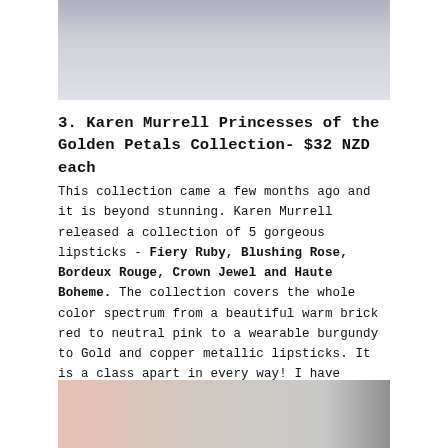[Figure (photo): Top portion of a photograph showing a person wearing a dark blue/grey patterned sleeveless top, cropped at the top of the page]
3.  Karen  Murrell  Princesses of the Golden  Petals Collection- $32 NZD each
This collection came a few months ago and it is beyond stunning. Karen  Murrell released a collection of 5 gorgeous lipsticks - Fiery Ruby,  Blushing Rose,  Bordeux Rouge, Crown Jewel and Haute Boheme. The collection covers the whole color spectrum from a beautiful warm brick red to neutral pink to a wearable burgundy to Gold and copper metallic lipsticks.  It is a class apart in every way! I have reviewed the whole collection on my blog and even did a look book with each of the shades. This post is probably the highlight of my 2017 blogging year. One of the few that  I'm proud of.
[Figure (photo): Bottom portion of a photograph showing beauty/makeup products including what appears to be lipstick packaging, on a light blue/grey background with a dark object at the right edge]